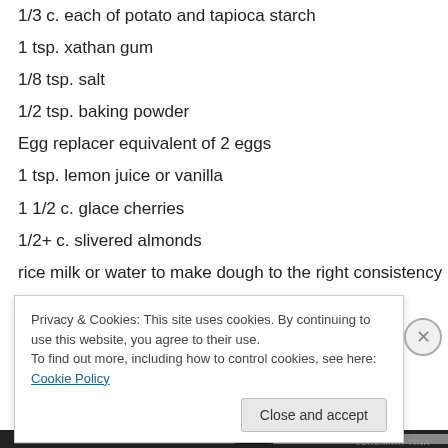1/3 c. each of potato and tapioca starch
1 tsp. xathan gum
1/8 tsp. salt
1/2 tsp. baking powder
Egg replacer equivalent of 2 eggs
1 tsp. lemon juice or vanilla
1 1/2 c. glace cherries
1/2+ c. slivered almonds
rice milk or water to make dough to the right consistency
1. Cream coconut oil and sugar.
Privacy & Cookies: This site uses cookies. By continuing to use this website, you agree to their use.
To find out more, including how to control cookies, see here: Cookie Policy